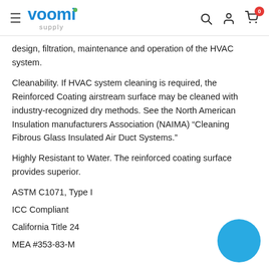voomi supply
design, filtration, maintenance and operation of the HVAC system.
Cleanability. If HVAC system cleaning is required, the Reinforced Coating airstream surface may be cleaned with industry-recognized dry methods. See the North American Insulation manufacturers Association (NAIMA) “Cleaning Fibrous Glass Insulated Air Duct Systems.”
Highly Resistant to Water. The reinforced coating surface provides superior.
ASTM C1071, Type I
ICC Compliant
California Title 24
MEA #353-83-M